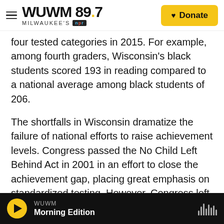WUWM 89.7 MILWAUKEE'S NPR — Donate
four tested categories in 2015. For example, among fourth graders, Wisconsin's black students scored 193 in reading compared to a national average among black students of 206.
The shortfalls in Wisconsin dramatize the failure of national efforts to raise achievement levels. Congress passed the No Child Left Behind Act in 2001 in an effort to close the achievement gap, placing great emphasis on standardized testing. However, Congress left the law behind after years of partisan bickering. President Barack Obama signed the changes into law Dec. 10
WUWM — Morning Edition